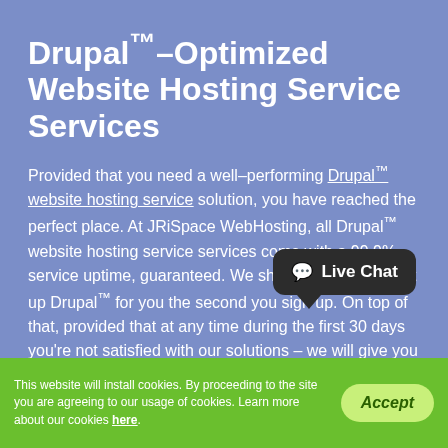Drupal™–Optimized Website Hosting Service Services
Provided that you need a well–performing Drupal™ website hosting service solution, you have reached the perfect place. At JRiSpace WebHosting, all Drupal™ website hosting service services come with a 99.9% service uptime, guaranteed. We shall even install & set up Drupal™ for you the second you sign up. On top of that, provided that at any time during the first 30 days you're not satisfied with our solutions – we will give you a reimbursement, no questions asked.
[Figure (other): Live Chat button bubble in dark background with chat icon]
This website will install cookies. By proceeding to the site you are agreeing to our usage of cookies. Learn more about our cookies here.